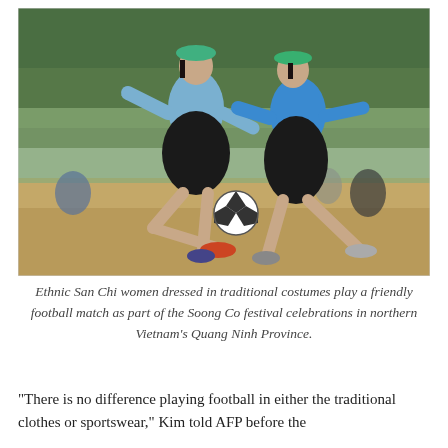[Figure (photo): Two ethnic San Chi women wearing traditional blue costumes and green headpieces playing football on a dirt field. One woman is kicking a black and white soccer ball while the other reaches toward her. Other people are visible in the background near trees.]
Ethnic San Chi women dressed in traditional costumes play a friendly football match as part of the Soong Co festival celebrations in northern Vietnam's Quang Ninh Province.
"There is no difference playing football in either the traditional clothes or sportswear," Kim told AFP before the